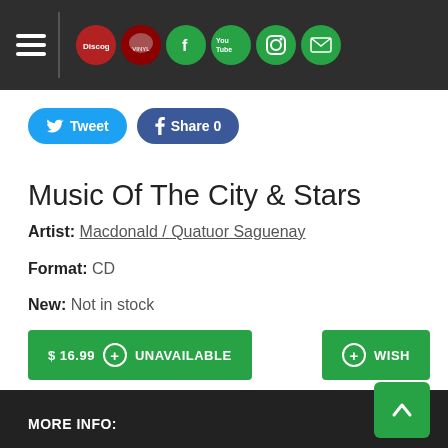Navigation header with hamburger menu and social/platform icons: Discogs, red circle, Facebook, YouTube, Instagram, Email
Tweet  Share 0
Music Of The City & Stars
Artist: Macdonald / Quatuor Saguenay
Format: CD
New: Not in stock
$16.99  + UNAVAILABLE    + WISH
FORMATS AND EDITIONS
MORE INFO: